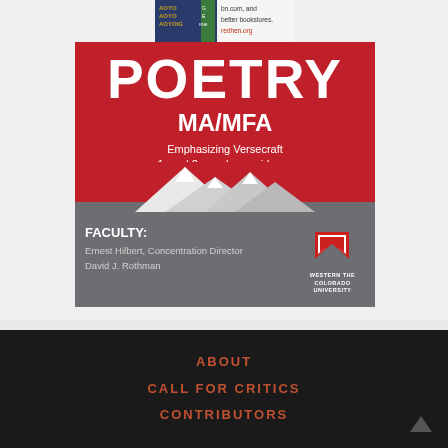[Figure (illustration): Small book advertisement with dark blue background and orange text showing 'bn.com, and better bookstores. redhen.org' with stylized logo on left]
[Figure (illustration): Western Colorado University MFA Poetry advertisement. Red background with white text reading 'POETRY MA/MFA Emphasizing Versecraft 1- and 2-year low residency western.edu/mfa'. Grey lower section with mountain silhouette showing FACULTY: Ernest Hilbert, Concentration Director; David J. Rothman. Western Colorado University logo on right.]
ABOUT
CALL FOR CRITICS
CONTRIBUTORS